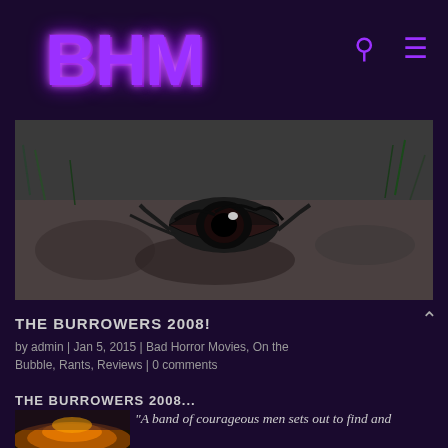BHM
[Figure (photo): Black and white close-up photograph of a creature eye partially buried in dirt and grass]
THE BURROWERS 2008!
by admin | Jan 5, 2015 | Bad Horror Movies, On the Bubble, Rants, Reviews | 0 comments
THE BURROWERS 2008...
[Figure (photo): Sunset/dramatic sky thumbnail image for The Burrowers 2008 article]
"A band of courageous men sets out to find and rescue a family of